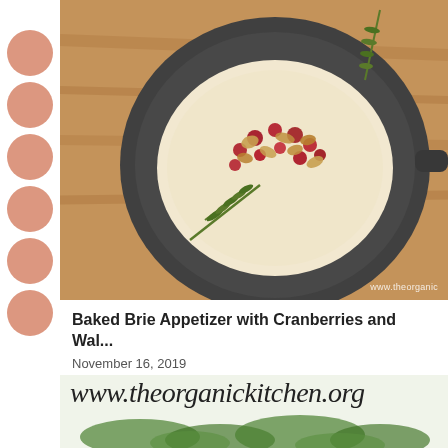[Figure (photo): Baked brie in a dark cast-iron skillet topped with cranberries and walnuts, on a wooden board with rosemary sprigs. Watermark: www.theorganic]
Baked Brie Appetizer with Cranberries and Wal...
November 16, 2019
[Figure (photo): Bottom portion of a photo showing www.theorganickitchen.org text overlay and blurred green herbs/greens below]